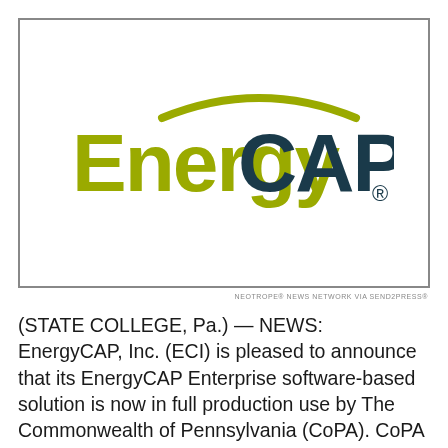[Figure (logo): EnergyCAP logo: the word 'Energy' in olive/yellow-green color and 'CAP' in dark teal/navy, with a curved arc above the letters in olive/yellow-green, and a registered trademark symbol. Enclosed in a rectangular border.]
NEOTROPE® NEWS NETWORK VIA SEND2PRESS®
(STATE COLLEGE, Pa.) — NEWS: EnergyCAP, Inc. (ECI) is pleased to announce that its EnergyCAP Enterprise software-based solution is now in full production use by The Commonwealth of Pennsylvania (CoPA). CoPA will rely on EnergyCAP to track, audit, and